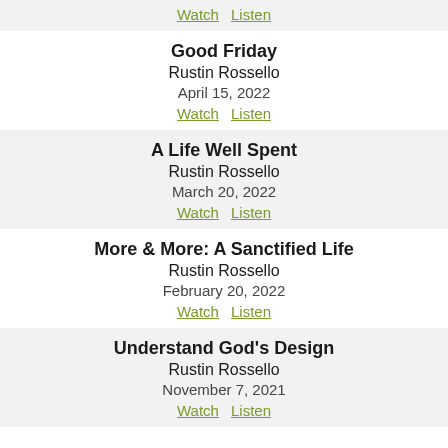Watch | Listen
Good Friday
Rustin Rossello
April 15, 2022
Watch | Listen
A Life Well Spent
Rustin Rossello
March 20, 2022
Watch | Listen
More & More: A Sanctified Life
Rustin Rossello
February 20, 2022
Watch | Listen
Understand God's Design
Rustin Rossello
November 7, 2021
Watch | Listen